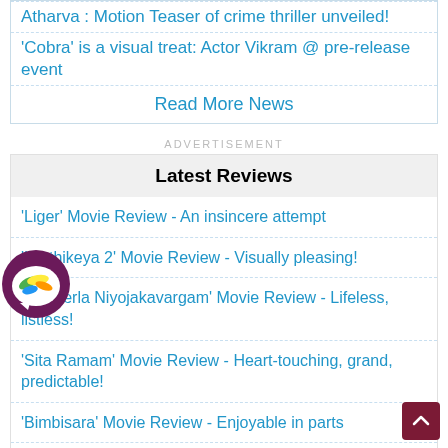'Cobra' is a visual treat: Actor Vikram @ pre-release event
Read More News
ADVERTISEMENT
Latest Reviews
'Liger' Movie Review - An insincere attempt
'Karthikeya 2' Movie Review - Visually pleasing!
'Macherla Niyojakavargam' Movie Review - Lifeless, listless!
'Sita Ramam' Movie Review - Heart-touching, grand, predictable!
'Bimbisara' Movie Review - Enjoyable in parts
Read More Reviews